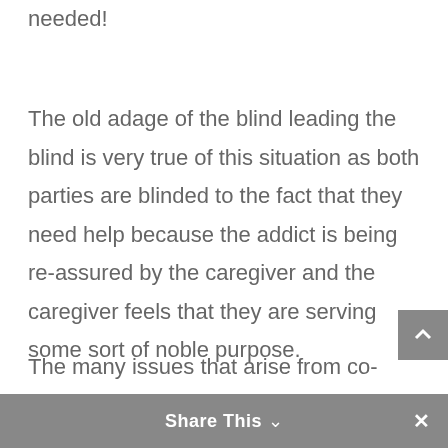helps them to feel that they are needed!
The old adage of the blind leading the blind is very true of this situation as both parties are blinded to the fact that they need help because the addict is being re-assured by the caregiver and the caregiver feels that they are serving some sort of noble purpose.
The many issues that arise from co-dependency include a lack of boundaries, constantly increased dependency a…
Share This ✕